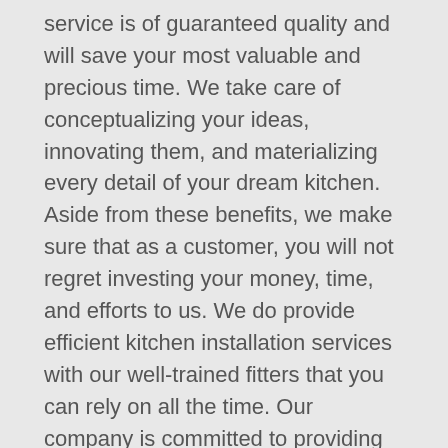service is of guaranteed quality and will save your most valuable and precious time. We take care of conceptualizing your ideas, innovating them, and materializing every detail of your dream kitchen. Aside from these benefits, we make sure that as a customer, you will not regret investing your money, time, and efforts to us. We do provide efficient kitchen installation services with our well-trained fitters that you can rely on all the time. Our company is committed to providing exceptional services to our valuable costumers. We are obliged to give you the best out of high quality.
Once you have decided to invest in us, you can now lie down and relax thinking that our kitchen fitters with the highest quality of craftsmanship can do the magic to make your new kitchen look